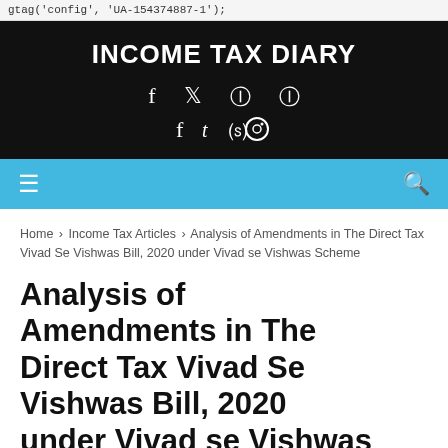gtag('config', 'UA-154374887-1');
INCOME TAX DIARY
[Figure (other): Social media icons: Facebook, Twitter, Pinterest, Instagram]
Navigation bar with hamburger menu and search icon
Home › Income Tax Articles › Analysis of Amendments in The Direct Tax Vivad Se Vishwas Bill, 2020 under Vivad se Vishwas Scheme
Analysis of Amendments in The Direct Tax Vivad Se Vishwas Bill, 2020 under Vivad se Vishwas Scheme
SUJIT TALUKDER   TUESDAY, FEBRUARY 25, 2020